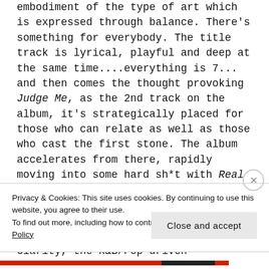variety of natures, this collection of work is an embodiment of the type of art which is expressed through balance. There's something for everybody. The title track is lyrical, playful and deep at the same time....everything is 7... and then comes the thought provoking Judge Me, as the 2nd track on the album, it's strategically placed for those who can relate as well as those who cast the first stone. The album accelerates from there, rapidly moving into some hard sh*t with Real Don't Die and Do Da Wop. Next up, Cnoteshce cleverly rocks the hook of Time on a blazing Johny Rocketz beat and then breaks it all down with Clarity, the R&B/Pop driven
Privacy & Cookies: This site uses cookies. By continuing to use this website, you agree to their use.
To find out more, including how to control cookies, see here: Cookie Policy
Close and accept